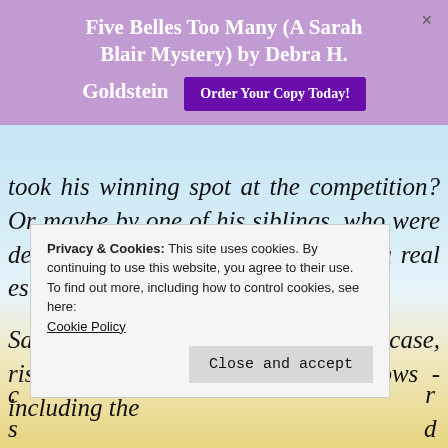Five Belles Too Many (A Sarah Blair Mystery) by Debra H. Goldstein
Order Your Copy Today!
took his winning spot at the competition? Or maybe by one of his siblings, who were desperate to sell the family farm to a real estate developer?
Sally plunges headfirst into the case, risking alienating everyone she knows - including the
Privacy & Cookies: This site uses cookies. By continuing to use this website, you agree to their use. To find out more, including how to control cookies, see here: Cookie Policy
Close and accept